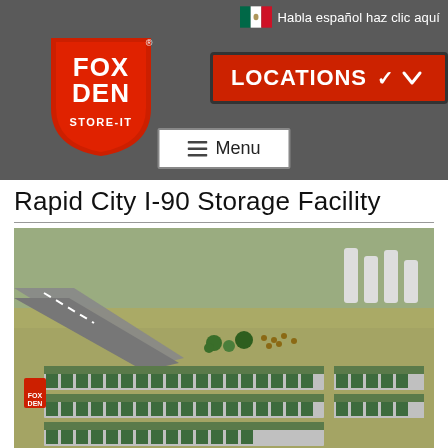Habla español haz clic aquí
[Figure (logo): Fox Den Store-It logo — red shield shape with FOX DEN STORE-IT text]
[Figure (screenshot): Red Locations dropdown button with chevron]
[Figure (screenshot): Menu button with hamburger icon]
Rapid City I-90 Storage Facility
[Figure (photo): Aerial drone photo of Rapid City I-90 Fox Den storage facility showing multiple rows of storage unit buildings with green doors and silver metal roofs, a highway and town visible in the background, and a Fox Den sign in the lower left]